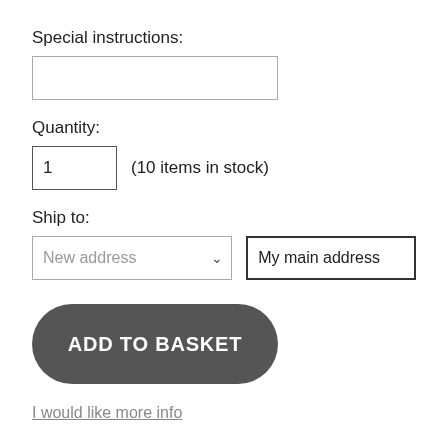Special instructions:
[Figure (other): Empty text input box for special instructions]
Quantity:
1  (10 items in stock)
Ship to:
New address  ∨   My main address
ADD TO BASKET
I would like more info